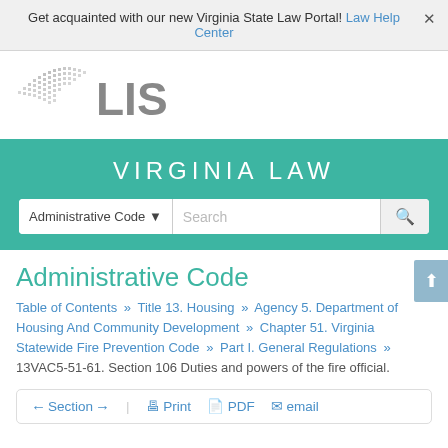Get acquainted with our new Virginia State Law Portal! Law Help Center ×
[Figure (logo): Virginia LIS logo — outline of Virginia state with dot-matrix texture and 'LIS' text in gray]
VIRGINIA LAW
Administrative Code ▾  [Search]
Administrative Code
Table of Contents » Title 13. Housing » Agency 5. Department of Housing And Community Development » Chapter 51. Virginia Statewide Fire Prevention Code » Part I. General Regulations » 13VAC5-51-61. Section 106 Duties and powers of the fire official.
← Section →   🖨 Print   📄 PDF   ✉ email